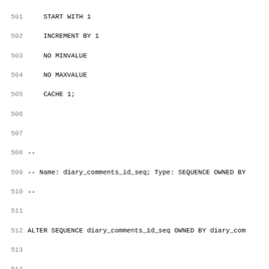SQL code listing lines 501-532 showing sequence and table creation statements